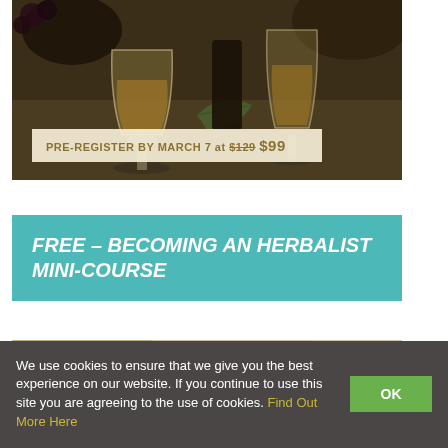[Figure (photo): Photo of glasses of herbal tea with a leaf, dark background, on a tray]
PRE-REGISTER BY MARCH 7 at $129 $99
FREE – BECOMING AN HERBALIST MINI-COURSE
[Figure (photo): Partial photo showing Herbal Academy logo/seal and herbal items]
We use cookies to ensure that we give you the best experience on our website. If you continue to use this site you are agreeing to the use of cookies. Find Out More Here